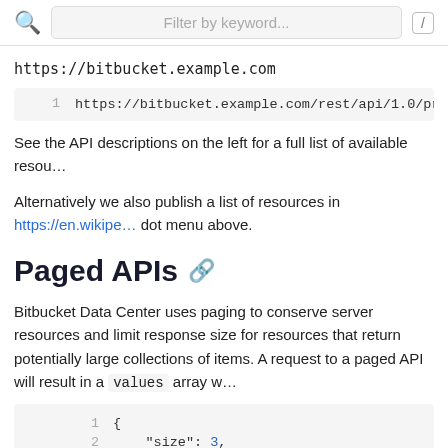Filter by keyword...
https://bitbucket.example.com
1   https://bitbucket.example.com/rest/api/1.0/projects/
See the API descriptions on the left for a full list of available resources.
Alternatively we also publish a list of resources in https://en.wikipedia... dot menu above.
Paged APIs
Bitbucket Data Center uses paging to conserve server resources and limit response size for resources that return potentially large collections of items. A request to a paged API will result in a values array w...
1  {
2      "size": 3,
3      "limit": 3,
4      "isLastPage": false,
5      "values": [